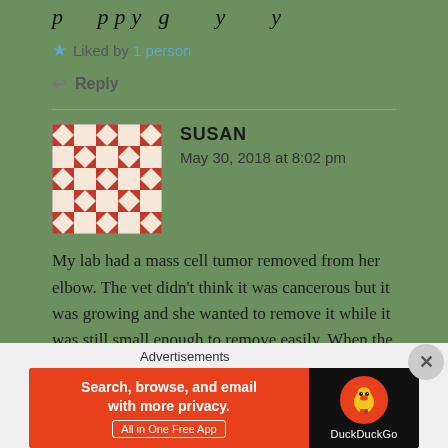Liked by 1 person
Reply
SUSAN
May 30, 2018 at 8:02 pm
[Figure (illustration): User avatar with geometric diamond/cross pattern in brown and white]
My lab had a mass cell tumor removed from her elbow. The vet didn't think it was cancerous but it was growing and she wanted to remove it while it was still small enough to remove easily. When the results came back we both said oh sh*t. But so far nothing else has shown up.
Advertisements
[Figure (screenshot): DuckDuckGo advertisement banner: Search, browse, and email with more privacy. All in One Free App]